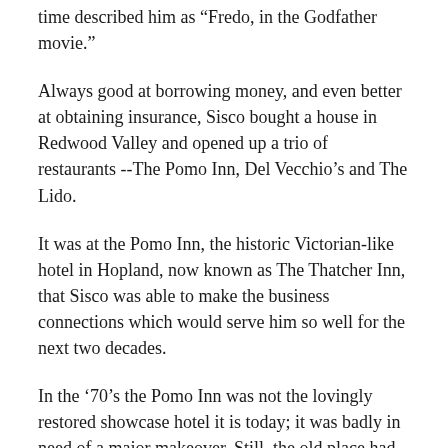time described him as "Fredo, in the Godfather movie."
Always good at borrowing money, and even better at obtaining insurance, Sisco bought a house in Redwood Valley and opened up a trio of restaurants --The Pomo Inn, Del Vecchio’s and The Lido.
It was at the Pomo Inn, the historic Victorian-like hotel in Hopland, now known as The Thatcher Inn, that Sisco was able to make the business connections which would serve him so well for the next two decades.
In the ‘70’s the Pomo Inn was not the lovingly restored showcase hotel it is today; it was badly in need of a major makeover. Still, the old place had the gracious elegance of a bygone era, and through a combination of astute management and a quick face lift for the structure’s facade, Sisco was able to turn the Pomo Inn’s mahogany bar and comfortable ground floor into